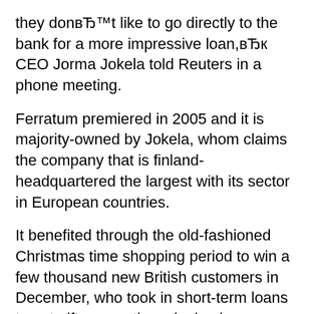they don't like to go directly to the bank for a more impressive loan,в Ђк CEO Jorma Jokela told Reuters in a phone meeting.
Ferratum premiered in 2005 and it is majority-owned by Jokela, whom claims the company that is finland-headquartered the largest with its sector in European countries.
It benefited through the old-fashioned Christmas time shopping period to win a few thousand new British customers in December, who took in short-term loans to get gift suggestions, by having a fourfold escalation in applications because of its loans from November to December.
Throughout the group, consumer figures rose to 1.1 million last year from 650,000 this year. Its long-lasting objectives include reaching significantly more than 10 million clients by 2014, with operations on all five continents, alongside its core European markets.